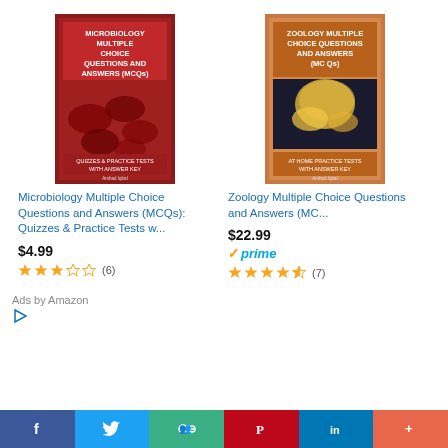[Figure (illustration): Book cover: Microbiology Multiple Choice Questions and Answers (MCQs) - red cover with microscopic imagery]
Microbiology Multiple Choice Questions and Answers (MCQs): Quizzes & Practice Tests w...
$4.99
[Figure (illustration): Star rating: 3 out of 5 stars (6 reviews)]
[Figure (illustration): Book cover: Zoology Multiple Choice Questions and Answers (MC...) - brown/orange cover with bird imagery]
Zoology Multiple Choice Questions and Answers (MC...
$22.99
[Figure (illustration): Prime badge with checkmark]
[Figure (illustration): Star rating: 4.5 out of 5 stars (7 reviews)]
Ads by Amazon
[Figure (illustration): Amazon ads play/arrow icon]
[Figure (illustration): Social sharing bar with Facebook, Twitter, Google+, Pinterest, LinkedIn, More buttons]